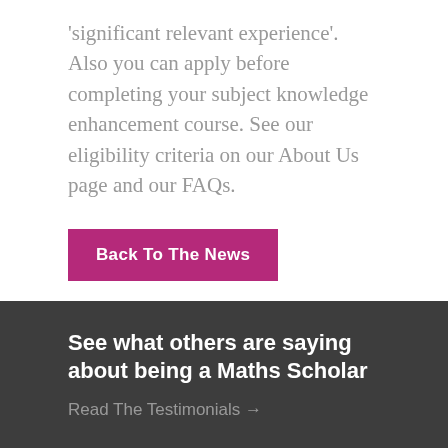'significant relevant experience'. Also you can apply before completing your subject knowledge enhancement course. See our eligibility criteria on our About Us page and our FAQs.
Back To The News
See what others are saying about being a Maths Scholar
Read The Testimonials →